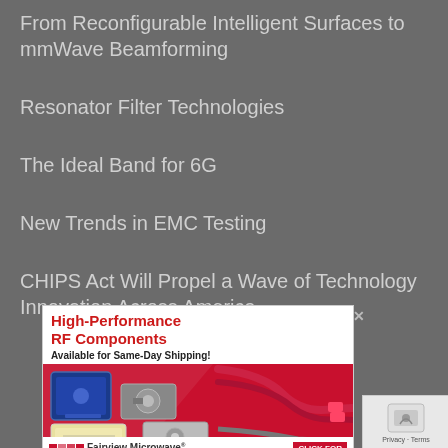From Reconfigurable Intelligent Surfaces to mmWave Beamforming
Resonator Filter Technologies
The Ideal Band for 6G
New Trends in EMC Testing
CHIPS Act Will Propel a Wave of Technology Innovation Across America
[Figure (infographic): Advertisement for Fairview Microwave: High-Performance RF Components Available for Same-Day Shipping. Shows RF cables and components on a red/dark background with Fairview Microwave logo and CLICK FOR button.]